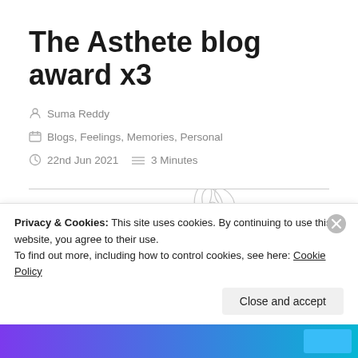The Asthete blog award x3
Suma Reddy
Blogs, Feelings, Memories, Personal
22nd Jun 2021   3 Minutes
[Figure (illustration): Decorative blog image with script text reading 'asthete blogger a...' with floral illustration elements including a butterfly and flower outline]
Privacy & Cookies: This site uses cookies. By continuing to use this website, you agree to their use.
To find out more, including how to control cookies, see here: Cookie Policy
Close and accept